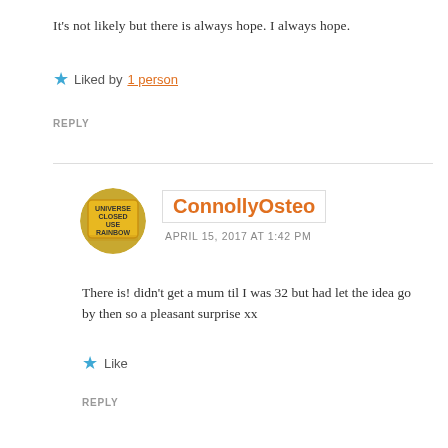It's not likely but there is always hope. I always hope.
★ Liked by 1 person
REPLY
[Figure (photo): Circular avatar of ConnollyOsteo showing a yellow road sign reading UNIVERSE CLOSED USE RAINBOW]
ConnollyOsteo
APRIL 15, 2017 AT 1:42 PM
There is! didn't get a mum til I was 32 but had let the idea go by then so a pleasant surprise xx
★ Like
REPLY